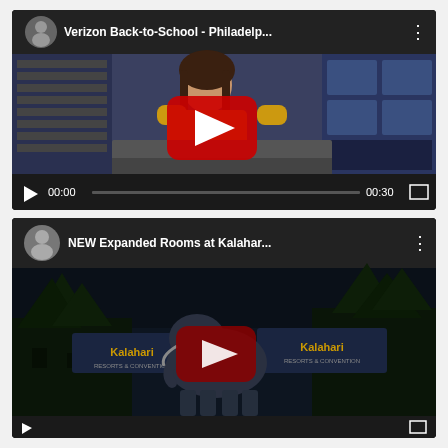[Figure (screenshot): YouTube video player showing 'Verizon Back-to-School - Philadelp...' with a woman in a yellow shirt in a Verizon store, red play button overlay, and video controls showing 00:00 / 00:30]
[Figure (screenshot): YouTube video player showing 'NEW Expanded Rooms at Kalahar...' with a dark scene showing Kalahari resort sign and elephant statue at night, dark red play button overlay, partially visible controls bar]